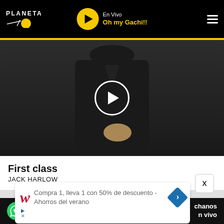PLANETA — En Vivo — Oh my Gachi!!
[Figure (screenshot): Video thumbnail of a person in a black jacket with hand on chest, with a white circular play button overlay]
First class
JACK HARLOW
[Figure (screenshot): Advertisement overlay: Walgreens ad — Compra 1, lleva 1 con 50% de descuento - Ahorros del verano, with X close button and navigation arrow]
chanos en vivo